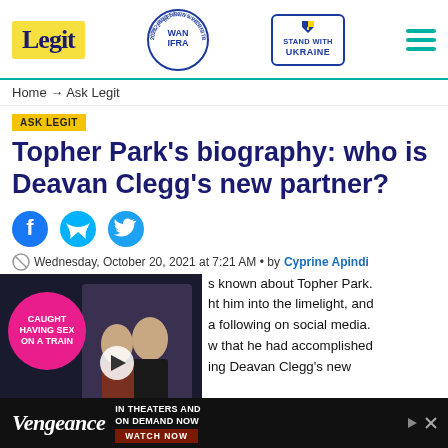Legit | WAN IFRA 2021 Best News Website in Africa | Stand with Ukraine
Home → Ask Legit
ASK LEGIT
Topher Park's biography: who is Deavan Clegg's new partner?
[Figure (other): Social media share icons: Facebook, Messenger, Twitter]
Wednesday, October 20, 2021 at 7:21 AM • by Cyprine Apindi
[Figure (other): Video thumbnail showing couple in formal wear with overlay text 'CAUGHT HAVING SEX ON A TRAIN' and play button]
s known about Topher Park. ht him into the limelight, and a following on social media. w that he had accomplished ing Deavan Clegg's new
[Figure (other): Vengeance movie advertisement banner: IN THEATERS AND ON DEMAND NOW - WATCH NOW]